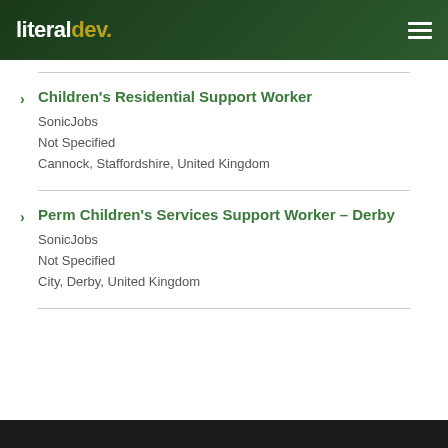literaldev.
Children's Residential Support Worker
SonicJobs
Not Specified
Cannock, Staffordshire, United Kingdom
Perm Children's Services Support Worker – Derby
SonicJobs
Not Specified
City, Derby, United Kingdom